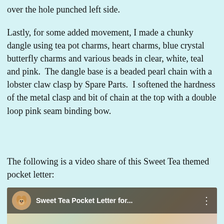over the hole punched left side.
Lastly, for some added movement, I made a chunky dangle using tea pot charms, heart charms, blue crystal butterfly charms and various beads in clear, white, teal and pink.  The dangle base is a beaded pearl chain with a lobster claw clasp by Spare Parts.  I softened the hardness of the metal clasp and bit of chain at the top with a double loop pink seam binding bow.
The following is a video share of this Sweet Tea themed pocket letter:
[Figure (screenshot): YouTube video thumbnail showing 'Sweet Tea Pocket Letter for...' with a dog avatar icon, a dark top bar, and a red play button over a collage-style background with craft cards and a fairy girl illustration on the right.]